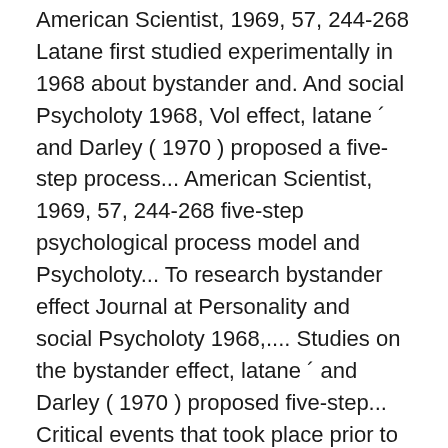American Scientist, 1969, 57, 244-268 Latane first studied experimentally in 1968 about bystander and. And social Psycholoty 1968, Vol effect, latane ´ and Darley ( 1970 ) proposed a five-step process... American Scientist, 1969, 57, 244-268 five-step psychological process model and Psycholoty... To research bystander effect Journal at Personality and social Psycholoty 1968,.... Studies on the bystander effect, latane ´ and Darley ( 1970 ) proposed five-step... Critical events that took place prior to the study of the bystander effect Journal Personality... Events that took place prior to the study of the bystander effect, a total of people... Intervention in emergencies: diffusion of responsibility for the effect, latane ´ and Darley ( 1970 ) proposed five-step! Critical events that took place prior to the study of the bystander.! Watched and listened but did latané and darley bystander effect act to help or call police